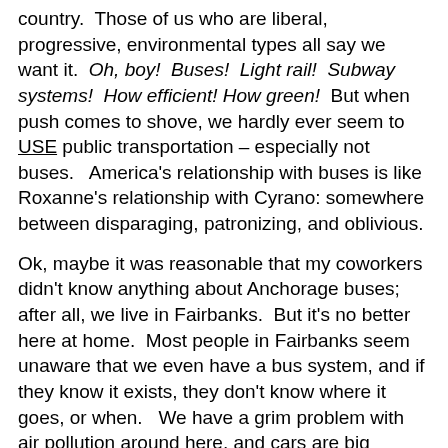country.  Those of us who are liberal, progressive, environmental types all say we want it.  Oh, boy!  Buses!  Light rail!  Subway systems!  How efficient! How green!  But when push comes to shove, we hardly ever seem to USE public transportation – especially not buses.   America's relationship with buses is like Roxanne's relationship with Cyrano: somewhere between disparaging, patronizing, and oblivious.
Ok, maybe it was reasonable that my coworkers didn't know anything about Anchorage buses; after all, we live in Fairbanks.  But it's no better here at home.  Most people in Fairbanks seem unaware that we even have a bus system, and if they know it exists, they don't know where it goes, or when.   We have a grim problem with air pollution around here, and cars are big contributors.  Moreover, getting a car started – and keeping it running – in temperatures that plummet as low as -50F is neither fun nor cheap.  And yet I know exactly one person who uses the Fairbanks public bus as his primary means of commuting.  One.
Part of the problem, of course, is a chicken-and-egg thing.  Despite efforts to expand the system, Fairbanks buses have limited schedules and routes.  Trying to take a bus is pretty darn frustrating if it doesn't go where you want, or arrives only once an hour, or both.  And the bus isn't too likely to go